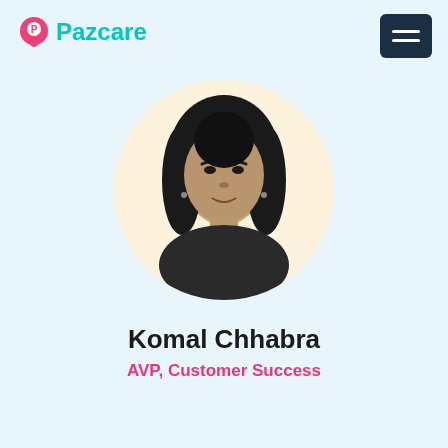[Figure (logo): Pazcare logo with pink location pin icon and teal text]
[Figure (other): Dark navy hamburger menu icon with three horizontal lines on dark background]
[Figure (photo): Circular portrait photo of Komal Chhabra on a cream/yellow background, black and white photo of woman with dark hair]
Komal Chhabra
AVP, Customer Success